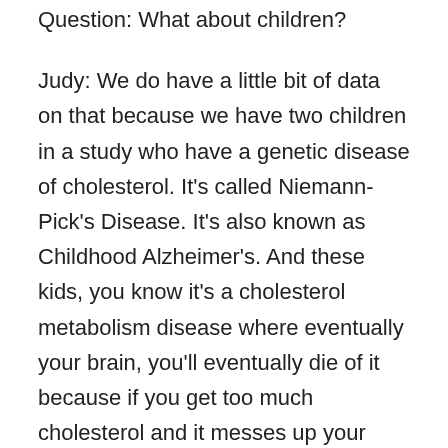Question: What about children?
Judy: We do have a little bit of data on that because we have two children in a study who have a genetic disease of cholesterol. It's called Niemann-Pick's Disease. It's also known as Childhood Alzheimer's. And these kids, you know it's a cholesterol metabolism disease where eventually your brain, you'll eventually die of it because if you get too much cholesterol and it messes up your brain and everything.
And those kids have been treated by James Hildreth in Nashville, Tennessee, at a small college, I can't remember right now. And he's using Cyclodextran and some of the cholesterol drugs. He's actually an HIV drug developer, and the kids are showing some improvement